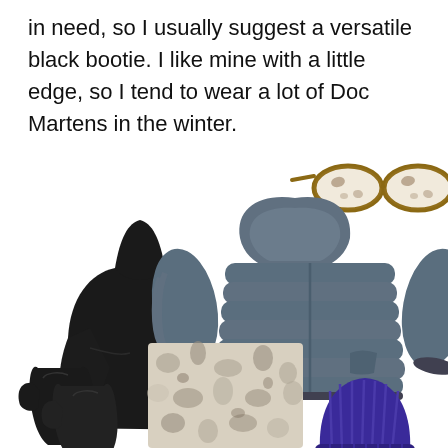in need, so I usually suggest a versatile black bootie. I like mine with a little edge, so I tend to wear a lot of Doc Martens in the winter.
[Figure (illustration): Flat lay outfit collage showing: tortoiseshell round eyeglasses (top right), black turtleneck sweater (center left), slate blue puffer jacket with hood (center right), floral/abstract print skirt or trousers (center bottom), black leather mittens (bottom left), dark purple/navy ribbed beanie hat (bottom right)]